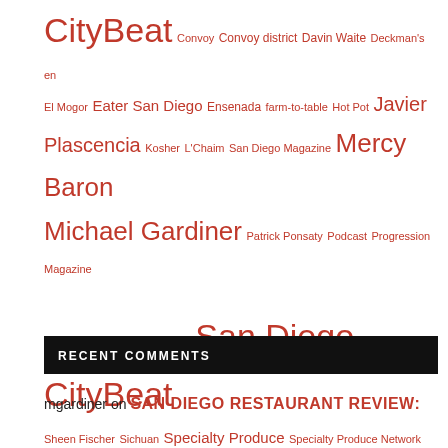[Figure (other): Tag cloud of topics in various font sizes, all in red/crimson color: CityBeat (XXL), Convoy, Convoy district, Davin Waite, Deckman's en El Mogor (SM), Eater San Diego, Ensenada, farm-to-table, Hot Pot (SM-MD), Javier Plascencia (LG), Kosher, L'Chaim, San Diego Magazine (SM), Mercy Baron (LG), Michael Gardiner (XL), Patrick Ponsaty, Podcast, Progression Magazine (SM), ramen, rosarito, San Diego (MD), San Diego CityBeat (XXL), Sheen Fischer, Sichuan, Specialty Produce, Specialty Produce Network (SM), Sushi, tacos, The Art of Spooning (MD), The World Fare (XL), THRILLIST (SM), Tijuana, Valle de Guadalupe (SM), World Fare (XXL), Wrench & Rodent (SM), Wrench & Rodent Seabasstropub, Year-End Wrap Up (SM)]
RECENT COMMENTS
mgardiner on SAN DIEGO RESTAURANT REVIEW: